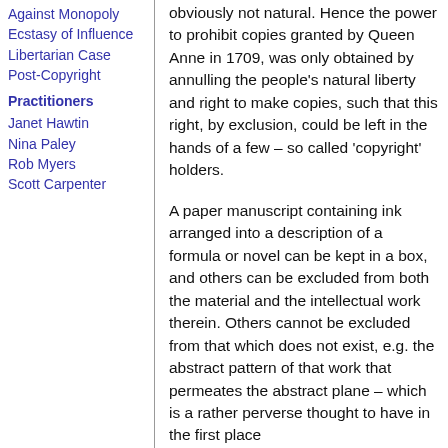Against Monopoly
Ecstasy of Influence
Libertarian Case
Post-Copyright
Practitioners
Janet Hawtin
Nina Paley
Rob Myers
Scott Carpenter
obviously not natural. Hence the power to prohibit copies granted by Queen Anne in 1709, was only obtained by annulling the people’s natural liberty and right to make copies, such that this right, by exclusion, could be left in the hands of a few – so called ‘copyright’ holders.
A paper manuscript containing ink arranged into a description of a formula or novel can be kept in a box, and others can be excluded from both the material and the intellectual work therein. Others cannot be excluded from that which does not exist, e.g. the abstract pattern of that work that permeates the abstract plane – which is a rather perverse thought to have in the first place